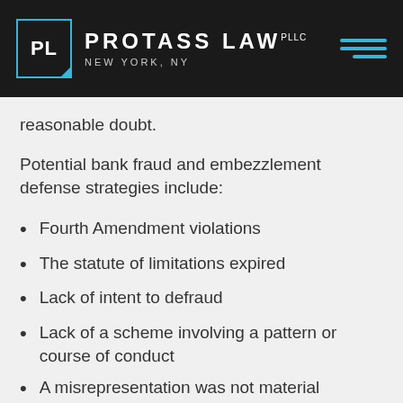PROTASS LAW PLLC — NEW YORK, NY
reasonable doubt.
Potential bank fraud and embezzlement defense strategies include:
Fourth Amendment violations
The statute of limitations expired
Lack of intent to defraud
Lack of a scheme involving a pattern or course of conduct
A misrepresentation was not material
The alleged victim was not a financial institution under federal law